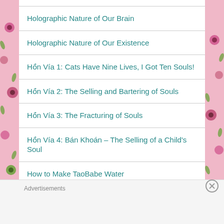Holographic Nature of Our Brain
Holographic Nature of Our Existence
Hồn Vía 1: Cats Have Nine Lives, I Got Ten Souls!
Hồn Vía 2: The Selling and Bartering of Souls
Hồn Vía 3: The Fracturing of Souls
Hồn Vía 4: Bán Khoán – The Selling of a Child's Soul
How to Make TaoBabe Water
Hsi Wang Mu, Ultimate Tao Babe (王母娘娘)
Advertisements